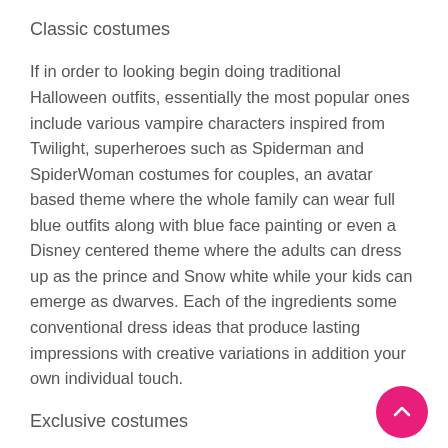Classic costumes
If in order to looking begin doing traditional Halloween outfits, essentially the most popular ones include various vampire characters inspired from Twilight, superheroes such as Spiderman and SpiderWoman costumes for couples, an avatar based theme where the whole family can wear full blue outfits along with blue face painting or even a Disney centered theme where the adults can dress up as the prince and Snow white while your kids can emerge as dwarves. Each of the ingredients some conventional dress ideas that produce lasting impressions with creative variations in addition your own individual touch.
Exclusive costumes